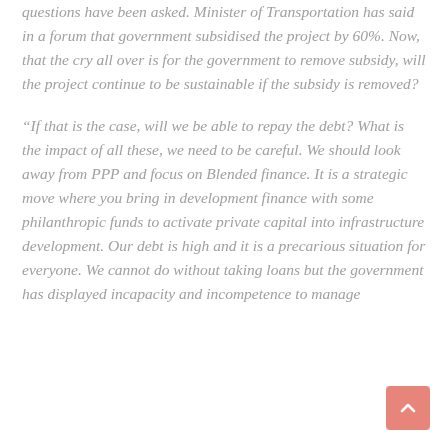questions have been asked. Minister of Transportation has said in a forum that government subsidised the project by 60%. Now, that the cry all over is for the government to remove subsidy, will the project continue to be sustainable if the subsidy is removed?
“If that is the case, will we be able to repay the debt? What is the impact of all these, we need to be careful. We should look away from PPP and focus on Blended finance. It is a strategic move where you bring in development finance with some philanthropic funds to activate private capital into infrastructure development. Our debt is high and it is a precarious situation for everyone. We cannot do without taking loans but the government has displayed incapacity and incompetence to manage